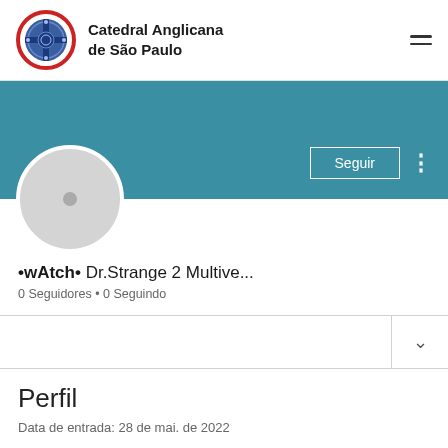Catedral Anglicana de São Paulo
[Figure (screenshot): Social media profile page showing a teal/blue banner, circular avatar placeholder, 'Seguir' (Follow) button, username '•wAtch• Dr.Strange 2 Multive...', 0 Seguidores • 0 Seguindo, and a Perfil section with entry date]
•wAtch• Dr.Strange 2 Multive...
0 Seguidores • 0 Seguindo
Perfil
Data de entrada: 28 de mai. de 2022